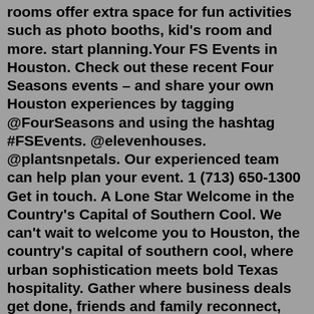rooms offer extra space for fun activities such as photo booths, kid's room and more. start planning.Your FS Events in Houston. Check out these recent Four Seasons events – and share your own Houston experiences by tagging @FourSeasons and using the hashtag #FSEvents. @elevenhouses. @plantsnpetals. Our experienced team can help plan your event. 1 (713) 650-1300 Get in touch. A Lone Star Welcome in the Country's Capital of Southern Cool. We can't wait to welcome you to Houston, the country's capital of southern cool, where urban sophistication meets bold Texas hospitality. Gather where business deals get done, friends and family reconnect, and celebrities and athletes make their home. Meetings & Special Events. Boasting 9,000 square feet of function facilities, Blossom Hotel Houston has a multi-functional event venue level dedicated to business conferences of all different disciplines and industries. Our main conference hall, the Luna Ballroom, and Pre-Function Space is